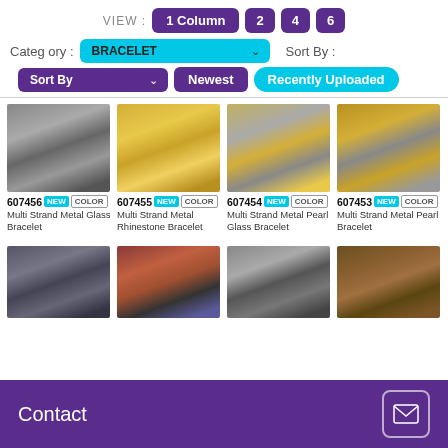VIEW: 1 Column  2  4  6
Category: BRACELET   Sort By:
Sort By   Newest   Recently Uploaded
[Figure (photo): 4 bracelet product photos in a grid row - items 607456, 607455, 607454, 607453]
607456 NEW COLOR - Multi Strand Metal Glass Bracelet
607455 NEW COLOR - Multi Strand Metal Rhinestone Bracelet
607454 NEW COLOR - Multi Strand Metal Pearl Glass Bracelet
607453 NEW COLOR - Multi Strand Metal Pearl Bracelet
[Figure (photo): 4 bracelet product photos in a second row - partially visible]
Contact